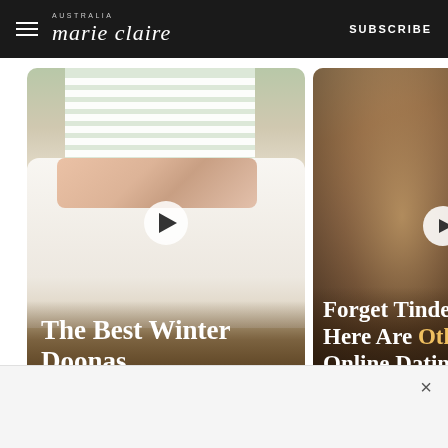marie claire — SUBSCRIBE
[Figure (photo): Bedroom with white bedding, decorative pillows, shuttered windows and a floor lamp. Video play button overlaid in center.]
The Best Winter Doonas
[Figure (photo): Close-up of a hand holding a smartphone, right-arrow navigation button overlaid.]
Forget Tinde Here Are Oth Online Datin
×